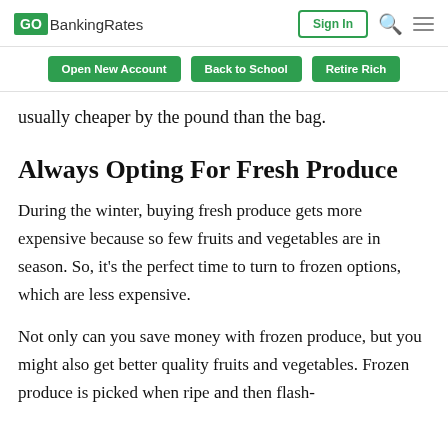GOBankingRates | Sign In
Open New Account | Back to School | Retire Rich
usually cheaper by the pound than the bag.
Always Opting For Fresh Produce
During the winter, buying fresh produce gets more expensive because so few fruits and vegetables are in season. So, it’s the perfect time to turn to frozen options, which are less expensive.
Not only can you save money with frozen produce, but you might also get better quality fruits and vegetables. Frozen produce is picked when ripe and then flash-